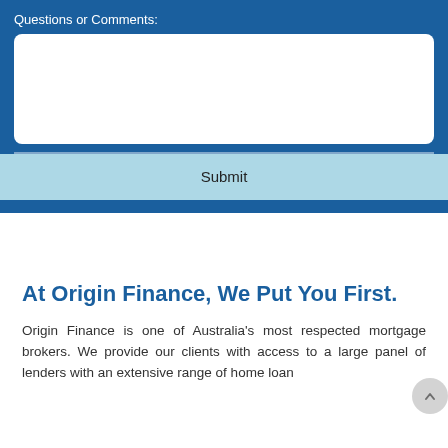Questions or Comments:
[Figure (screenshot): White textarea input box for user comments]
Submit
At Origin Finance, We Put You First.
Origin Finance is one of Australia's most respected mortgage brokers. We provide our clients with access to a large panel of lenders with an extensive range of home loan